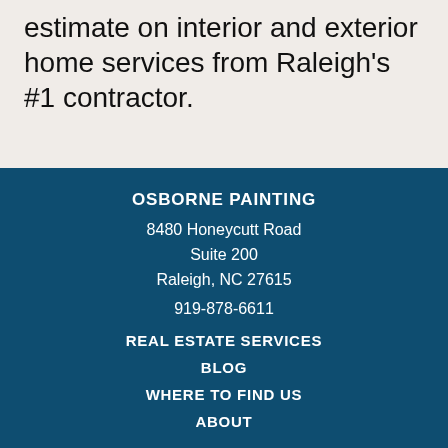estimate on interior and exterior home services from Raleigh's #1 contractor.
OSBORNE PAINTING
8480 Honeycutt Road
Suite 200
Raleigh, NC 27615
919-878-6611
REAL ESTATE SERVICES
BLOG
WHERE TO FIND US
ABOUT